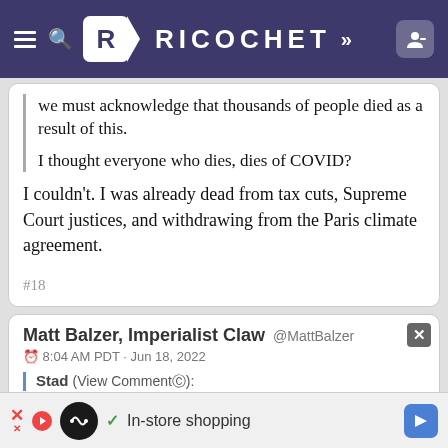RICOCHET
we must acknowledge that thousands of people died as a result of this.
I thought everyone who dies, dies of COVID?
I couldn't. I was already dead from tax cuts, Supreme Court justices, and withdrawing from the Paris climate agreement.
#18
Matt Balzer, Imperialist Claw @MattBalzer
8:04 AM PDT · Jun 18, 2022
Stad (View Comment©):
[Figure (screenshot): Advertisement bar at bottom: play button icon, loop/infinity logo circle, checkmark, 'In-store shopping' text, blue navigation arrow icon]